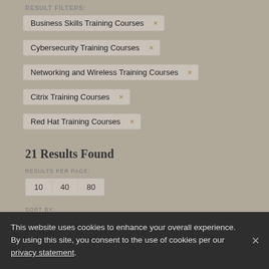RESULT FILTERS:
Business Skills Training Courses ×
Cybersecurity Training Courses ×
Networking and Wireless Training Courses ×
Citrix Training Courses ×
Red Hat Training Courses ×
21 Results Found
RESULTS PER PAGE:
10  40  80
SORT BY:
This website uses cookies to enhance your overall experience. By using this site, you consent to the use of cookies per our privacy statement.
THE OTTAWA HOSPITAL BOOSTS